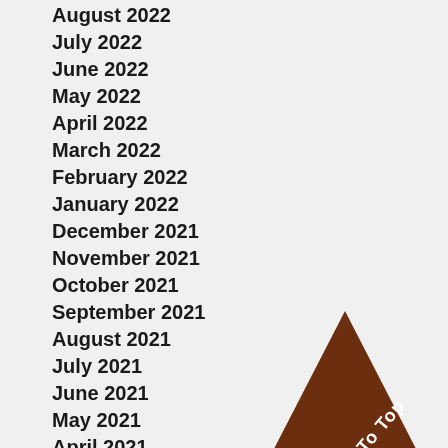August 2022
July 2022
June 2022
May 2022
April 2022
March 2022
February 2022
January 2022
December 2021
November 2021
October 2021
September 2021
August 2021
July 2021
June 2021
May 2021
April 2021
March 2021
February 2021
January 2021
December 2020
November 2020
[Figure (other): Brown triangle 'To Top' button in the bottom right corner]